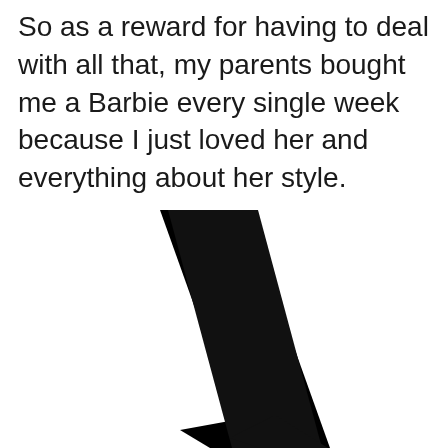So as a reward for having to deal with all that, my parents bought me a Barbie every single week because I just loved her and everything about her style.
[Figure (illustration): A large black diagonal backslash shape on a white background, resembling a thick angled stripe running from upper-left to lower-right.]